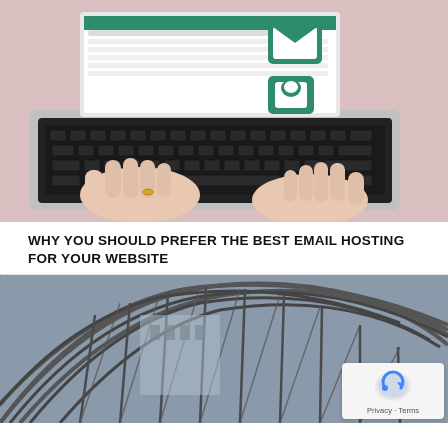[Figure (photo): Person typing on a laptop with email interface and envelope icons overlay, pink background]
WHY YOU SHOULD PREFER THE BEST EMAIL HOSTING FOR YOUR WEBSITE
[Figure (photo): Steel/iron architectural arch structure, black and white, with reCAPTCHA privacy badge overlay]